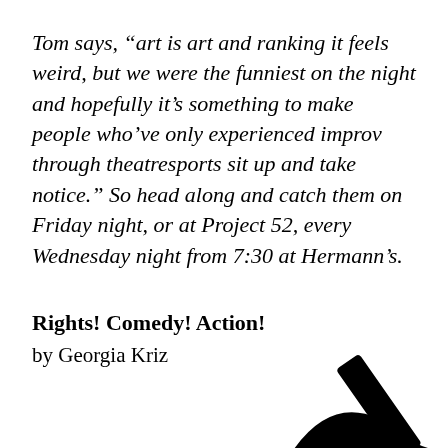Tom says, “art is art and ranking it feels weird, but we were the funniest on the night and hopefully it’s something to make people who’ve only experienced improv through theatresports sit up and take notice.” So head along and catch them on Friday night, or at Project 52, every Wednesday night from 7:30 at Hermann’s.
Rights! Comedy! Action!
by Georgia Kriz
[Figure (illustration): Partial black and white illustration visible at bottom right of page, appears to show a graphic/logo element with bold black shapes]